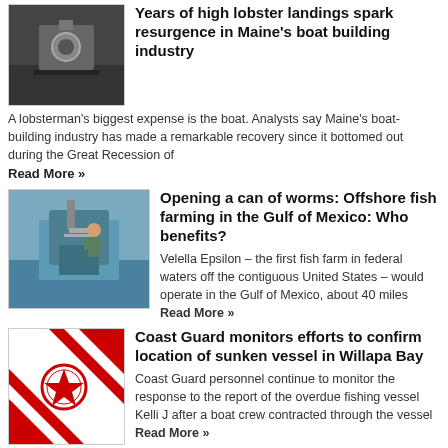[Figure (photo): Photo of a lobsterman at the helm of a boat]
Years of high lobster landings spark resurgence in Maine's boat building industry
A lobsterman's biggest expense is the boat. Analysts say Maine's boat-building industry has made a remarkable recovery since it bottomed out during the Great Recession of
Read More »
[Figure (photo): Photo of a person on a fish farming structure in water]
Opening a can of worms: Offshore fish farming in the Gulf of Mexico: Who benefits?
Velella Epsilon – the first fish farm in federal waters off the contiguous United States – would operate in the Gulf of Mexico, about 40 miles Read More »
[Figure (logo): US Coast Guard logo on red and white diagonal background]
Coast Guard monitors efforts to confirm location of sunken vessel in Willapa Bay
Coast Guard personnel continue to monitor the response to the report of the overdue fishing vessel Kelli J after a boat crew contracted through the vessel Read More »
Wrecking the Sea Bed with Offshore Wind (Part 4)
Potentially, for the 213 turbines plus three substations a met mast and other assorted sea bed scrapings, the amount of displaced spoil comes in